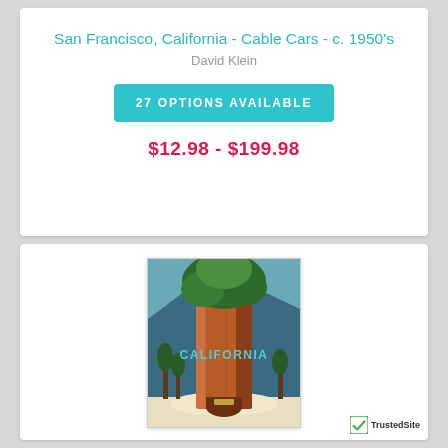San Francisco, California - Cable Cars - c. 1950's
David Klein
27 OPTIONS AVAILABLE
$12.98 -  $199.98
[Figure (illustration): Vintage California travel poster illustration featuring a giant redwood/sequoia tree trunk in the center with green foliage at top, blue mountains in background, and 'CALIFORNIA' written in teal letters across the middle of the trunk.]
[Figure (logo): TrustedSite badge with green checkmark and text 'TrustedSite']